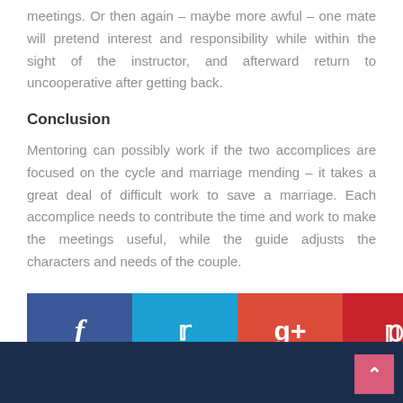meetings. Or then again – maybe more awful – one mate will pretend interest and responsibility while within the sight of the instructor, and afterward return to uncooperative after getting back.
Conclusion
Mentoring can possibly work if the two accomplices are focused on the cycle and marriage mending – it takes a great deal of difficult work to save a marriage. Each accomplice needs to contribute the time and work to make the meetings useful, while the guide adjusts the characters and needs of the couple.
[Figure (infographic): Social media share buttons: Facebook (blue), Twitter (light blue), Google+ (orange-red), Pinterest (dark red)]